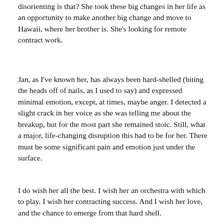disorienting is that? She took these big changes in her life as an opportunity to make another big change and move to Hawaii, where her brother is. She's looking for remote contract work.
Jan, as I've known her, has always been hard-shelled (biting the heads off of nails, as I used to say) and expressed minimal emotion, except, at times, maybe anger. I detected a slight crack in her voice as she was telling me about the breakup, but for the most part she remained stoic. Still, what a major, life-changing disruption this had to be for her. There must be some significant pain and emotion just under the surface.
I do wish her all the best. I wish her an orchestra with which to play. I wish her contracting success. And I wish her love, and the chance to emerge from that hard shell.